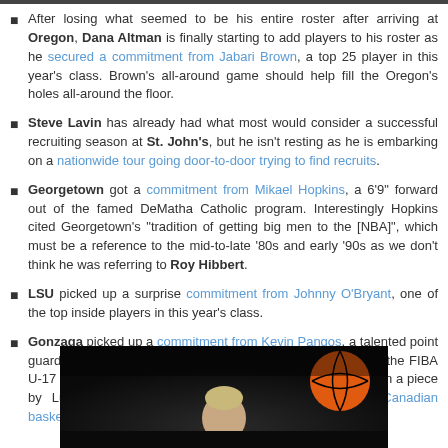After losing what seemed to be his entire roster after arriving at Oregon, Dana Altman is finally starting to add players to his roster as he secured a commitment from Jabari Brown, a top 25 player in this year's class. Brown's all-around game should help fill the Oregon's holes all-around the floor.
Steve Lavin has already had what most would consider a successful recruiting season at St. John's, but he isn't resting as he is embarking on a nationwide tour going door-to-door trying to find recruits.
Georgetown got a commitment from Mikael Hopkins, a 6'9" forward out of the famed DeMatha Catholic program. Interestingly Hopkins cited Georgetown's "tradition of getting big men to the [NBA]", which must be a reference to the mid-to-late '80s and early '90s as we don't think he was referring to Roy Hibbert.
LSU picked up a surprise commitment from Johnny O'Bryant, one of the top inside players in this year's class.
Gonzaga picked up a commitment from Kevin Pangos, a talented point guard out of Canada who was named the top point guard at the FIBA U-17 World Championships this summer and was mentioned in a piece by Luke Winn earlier this year about the growth of Canadian basketball.
[Figure (photo): Photo of a player (or coach) from a basketball game, dark background with a basketball visible on the right side]